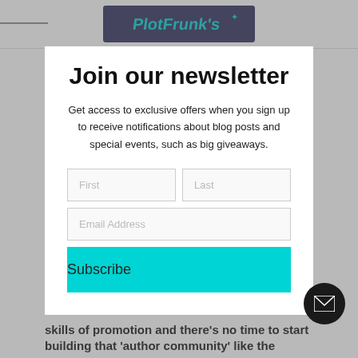[Figure (logo): Blog/website logo banner at top of page]
Join our newsletter
Get access to exclusive offers when you sign up to receive notifications about blog posts and special events, such as big giveaways.
First | Last | Email Address | Subscribe (form fields and button)
skills of promotion and there's no time to start building that 'author community' like the